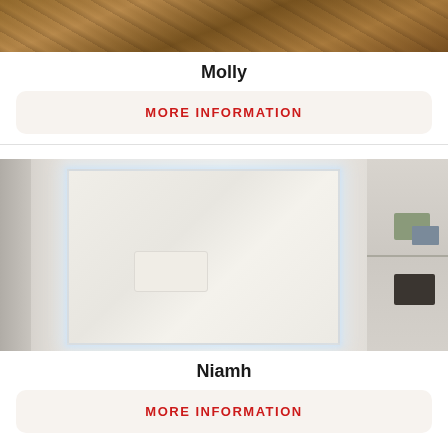[Figure (photo): Partial top view of a wooden textured surface or furniture, cropped at top of page]
Molly
MORE INFORMATION
[Figure (photo): LED backlit bathroom mirror reflecting a white room with a pillow and shelf with decorative items on the right side]
Niamh
MORE INFORMATION